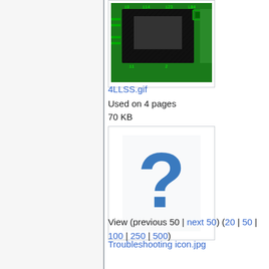[Figure (screenshot): Thumbnail of 4LLSS.gif showing a circuit board chip with green and black design, partially cropped at top]
4LLSS.gif
Used on 4 pages
70 KB
[Figure (screenshot): Thumbnail placeholder showing a blue question mark on white background, representing Troubleshooting icon.jpg]
Troubleshooting icon.jpg
Used on 4 pages
51 KB
View (previous 50 | next 50) (20 | 50 | 100 | 250 | 500)